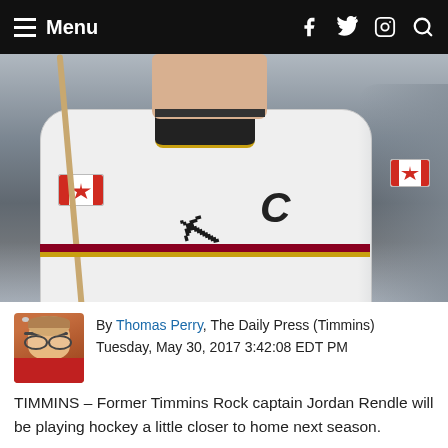Menu
[Figure (photo): Hockey player wearing white Timmins Rock jersey with captain C, Canadian flag patch, black and gold trim, on ice rink]
By Thomas Perry, The Daily Press (Timmins) Tuesday, May 30, 2017 3:42:08 EDT PM
TIMMINS – Former Timmins Rock captain Jordan Rendle will be playing hockey a little closer to home next season.
The 20-year-old Surrey, B.C., native who led the Rock in scoring during the 2016-17 campaign and finished sixth